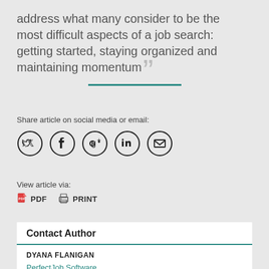address what many consider to be the most difficult aspects of a job search: getting started, staying organized and maintaining momentum
Share article on social media or email:
[Figure (other): Social media sharing icons: Twitter, Facebook, Google+, LinkedIn, Email]
View article via:
PDF   PRINT
Contact Author
DYANA FLANIGAN
PerfectJob Software
312.464.9668
Email >